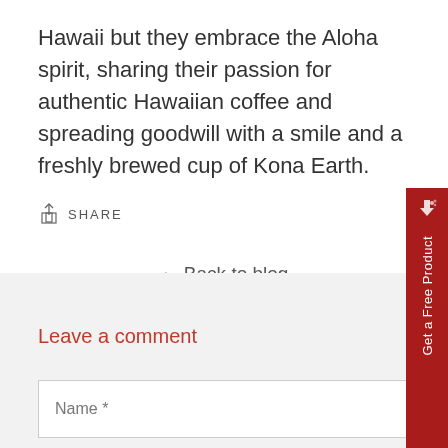Hawaii but they embrace the Aloha spirit, sharing their passion for authentic Hawaiian coffee and spreading goodwill with a smile and a freshly brewed cup of Kona Earth.
↑ SHARE
← Back to blog
Leave a comment
Name *